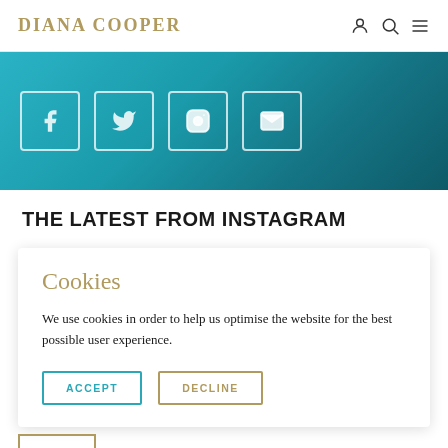DIANA COOPER
[Figure (screenshot): Teal/blue social media banner showing four social media icon buttons (Facebook, Twitter, Instagram, and another) with white rounded-square outlines on a teal gradient background.]
THE LATEST FROM INSTAGRAM
Cookies
We use cookies in order to help us optimise the website for the best possible user experience.
ACCEPT  DECLINE